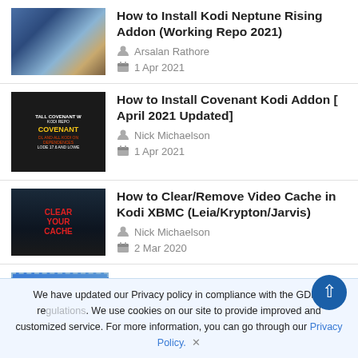How to Install Kodi Neptune Rising Addon (Working Repo 2021) — Arsalan Rathore — 1 Apr 2021
How to Install Covenant Kodi Addon [ April 2021 Updated] — Nick Michaelson — 1 Apr 2021
How to Clear/Remove Video Cache in Kodi XBMC (Leia/Krypton/Jarvis) — Nick Michaelson — 2 Mar 2020
22+ Best Kodi Builds for April 2021 (partial)
We have updated our Privacy policy in compliance with the GDPR regulations. We use cookies on our site to provide improved and customized service. For more information, you can go through our Privacy Policy. ✕